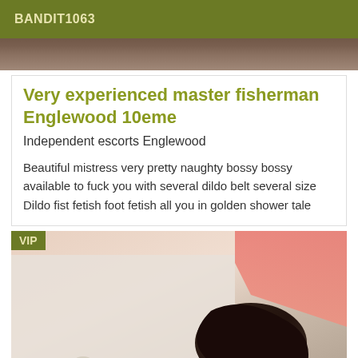BANDIT1063
[Figure (photo): Top image strip showing partial photo]
Very experienced master fisherman Englewood 10eme
Independent escorts Englewood
Beautiful mistress very pretty naughty bossy bossy available to fuck you with several dildo belt several size Dildo fist fetish foot fetish all you in golden shower tale
[Figure (photo): Photo with VIP badge in top left corner showing partial view]